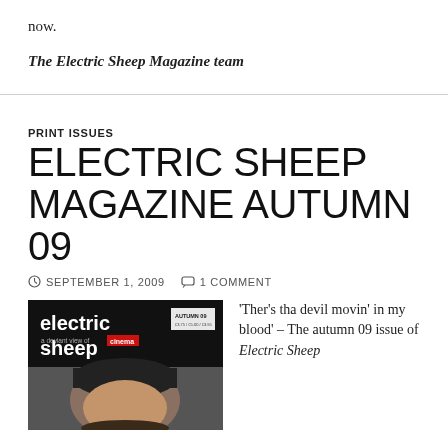now.
The Electric Sheep Magazine team
PRINT ISSUES
ELECTRIC SHEEP MAGAZINE AUTUMN 09
SEPTEMBER 1, 2009   1 COMMENT
[Figure (photo): Cover of Electric Sheep Magazine Autumn 09 issue showing 'electric sheep a deviant view of cinema' text on dark background with a person's face below]
'Ther's tha devil movin' in my blood' – The autumn 09 issue of Electric Sheep